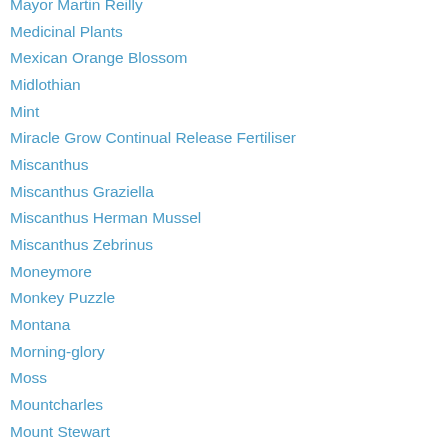Mayor Martin Reilly
Medicinal Plants
Mexican Orange Blossom
Midlothian
Mint
Miracle Grow Continual Release Fertiliser
Miscanthus
Miscanthus Graziella
Miscanthus Herman Mussel
Miscanthus Zebrinus
Moneymore
Monkey Puzzle
Montana
Morning-glory
Moss
Mountcharles
Mount Stewart
Movember
Moville
Moving Shrubs